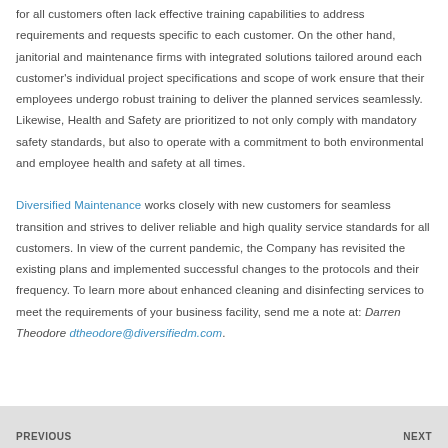for all customers often lack effective training capabilities to address requirements and requests specific to each customer. On the other hand, janitorial and maintenance firms with integrated solutions tailored around each customer's individual project specifications and scope of work ensure that their employees undergo robust training to deliver the planned services seamlessly. Likewise, Health and Safety are prioritized to not only comply with mandatory safety standards, but also to operate with a commitment to both environmental and employee health and safety at all times.

Diversified Maintenance works closely with new customers for seamless transition and strives to deliver reliable and high quality service standards for all customers. In view of the current pandemic, the Company has revisited the existing plans and implemented successful changes to the protocols and their frequency. To learn more about enhanced cleaning and disinfecting services to meet the requirements of your business facility, send me a note at: Darren Theodore dtheodore@diversifiedm.com.
PREVIOUS    NEXT